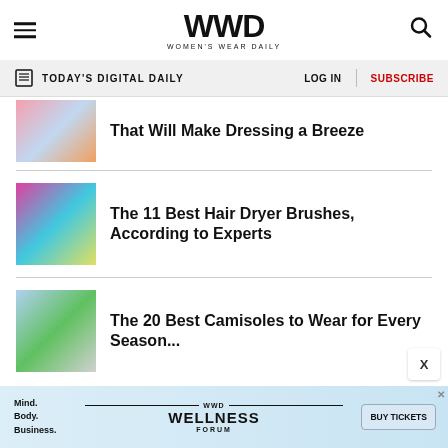WWD — Women's Wear Daily
TODAY'S DIGITAL DAILY | LOG IN | SUBSCRIBE
That Will Make Dressing a Breeze
The 11 Best Hair Dryer Brushes, According to Experts
The 20 Best Camisoles to Wear for Every Season...
[Figure (screenshot): WWD Wellness Forum advertisement banner with 'Mind. Body. Business.' text and 'BUY TICKETS' button]